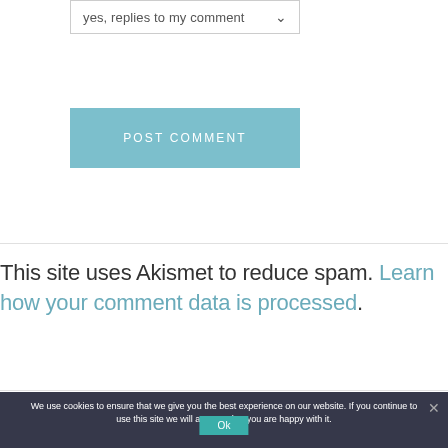yes, replies to my comment ▾
subscribe without commenting
POST COMMENT
This site uses Akismet to reduce spam. Learn how your comment data is processed.
We use cookies to ensure that we give you the best experience on our website. If you continue to use this site we will assume that you are happy with it.
Ok